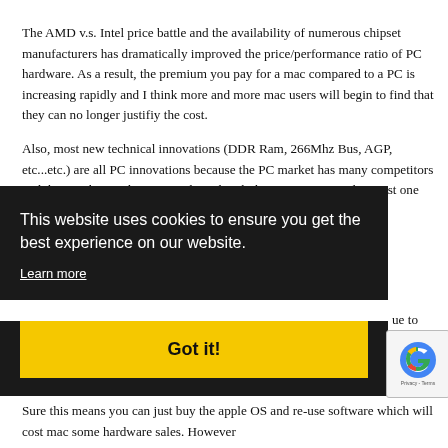The AMD v.s. Intel price battle and the availability of numerous chipset manufacturers has dramatically improved the price/performance ratio of PC hardware. As a result, the premium you pay for a mac compared to a PC is increasing rapidly and I think more and more mac users will begin to find that they can no longer justifiy the cost.
Also, most new technical innovations (DDR Ram, 266Mhz Bus, AGP, etc...etc.) are all PC innovations because the PC market has many competitors and the user base is large enough to absorb the R&D cost. Apple is just one company [partially obscured] ue to [partially obscured] uch
[Figure (screenshot): Cookie consent banner overlay with dark background. Text reads: 'This website uses cookies to ensure you get the best experience on our website.' with a 'Learn more' link and a yellow 'Got it!' button.]
[Figure (screenshot): reCAPTCHA badge in the bottom right corner showing the Google reCAPTCHA logo with 'Privacy - Terms' text.]
[partially obscured] on PC
Sure this means you can just buy the apple OS and re-use software which will cost mac some hardware sales. However